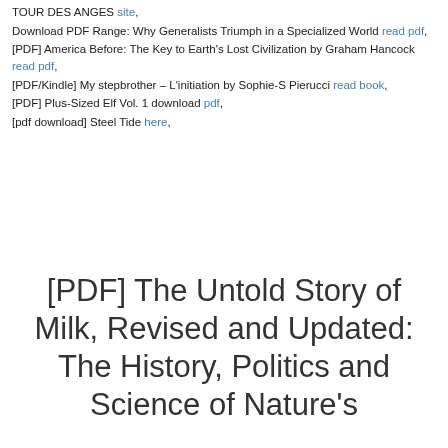TOUR DES ANGES site,
Download PDF Range: Why Generalists Triumph in a Specialized World read pdf,
[PDF] America Before: The Key to Earth's Lost Civilization by Graham Hancock read pdf,
[PDF/Kindle] My stepbrother – L'initiation by Sophie-S Pierucci read book,
[PDF] Plus-Sized Elf Vol. 1 download pdf,
[pdf download] Steel Tide here,
[PDF] The Untold Story of Milk, Revised and Updated: The History, Politics and Science of Nature's